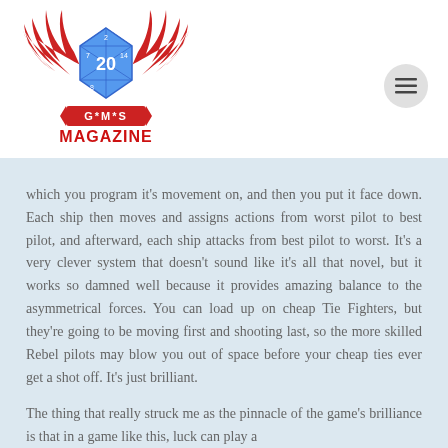[Figure (logo): G*M*S Magazine logo featuring a blue d20 die with red wings and a red banner reading G*M*S, below which is the text MAGAZINE in red bold letters]
which you program it's movement on, and then you put it face down. Each ship then moves and assigns actions from worst pilot to best pilot, and afterward, each ship attacks from best pilot to worst. It's a very clever system that doesn't sound like it's all that novel, but it works so damned well because it provides amazing balance to the asymmetrical forces. You can load up on cheap Tie Fighters, but they're going to be moving first and shooting last, so the more skilled Rebel pilots may blow you out of space before your cheap ties ever get a shot off. It's just brilliant.
The thing that really struck me as the pinnacle of the game's brilliance is that in a game like this, luck can play a